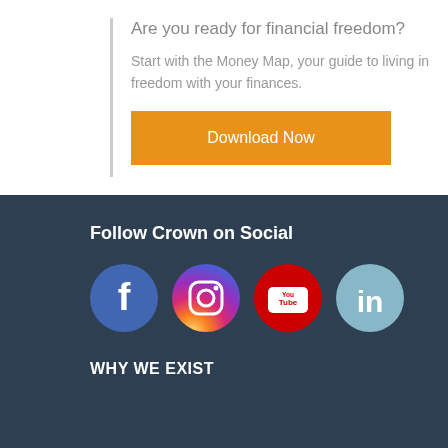Are you ready for financial freedom?
Start with the Money Map, your guide to living in freedom with your finances.
Download Now
Follow Crown on Social
[Figure (logo): Social media icons: Facebook, Instagram, YouTube, LinkedIn]
WHY WE EXIST